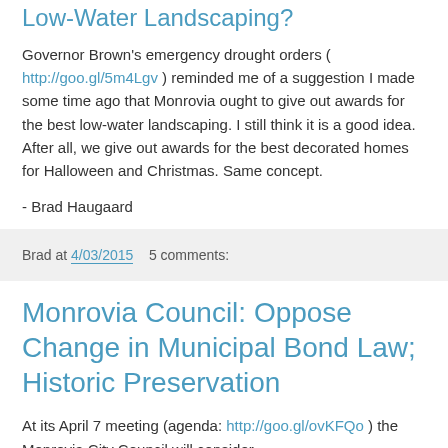Low-Water Landscaping?
Governor Brown's emergency drought orders ( http://goo.gl/5m4Lgv ) reminded me of a suggestion I made some time ago that Monrovia ought to give out awards for the best low-water landscaping. I still think it is a good idea. After all, we give out awards for the best decorated homes for Halloween and Christmas. Same concept.
- Brad Haugaard
Brad at 4/03/2015   5 comments:
Monrovia Council: Oppose Change in Municipal Bond Law; Historic Preservation
At its April 7 meeting (agenda: http://goo.gl/ovKFQo ) the Monrovia City Council will consider ...